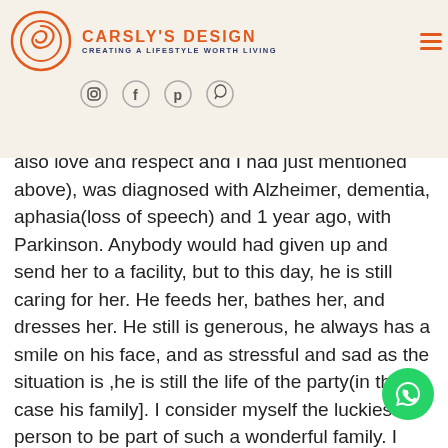[Figure (logo): Carsly's Design logo with circular swirl icon, brand name in orange, tagline in navy, hamburger menu icon, and social media icons (Instagram, Facebook, Pinterest, WhatsApp)]
omen].
n I
also love and respect and I had just mentioned above), was diagnosed with Alzheimer, dementia, aphasia(loss of speech) and 1 year ago, with Parkinson. Anybody would had given up and send her to a facility, but to this day, he is still caring for her. He feeds her, bathes her, and dresses her. He still is generous, he always has a smile on his face, and as stressful and sad as the situation is ,he is still the life of the party(in this case his family]. I consider myself the luckiest person to be part of such a wonderful family. I have to be clear and note my brother-in-law has had the supp from his mother, sisters, his brother